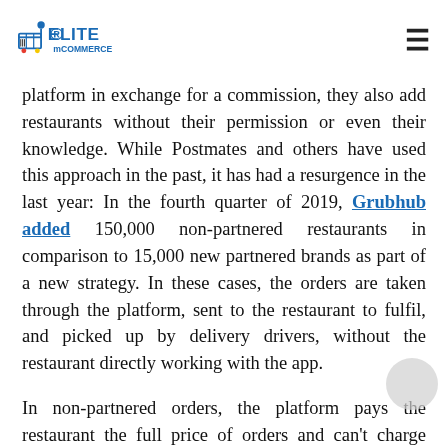Elite mCommerce logo and navigation
platform in exchange for a commission, they also add restaurants without their permission or even their knowledge. While Postmates and others have used this approach in the past, it has had a resurgence in the last year: In the fourth quarter of 2019, Grubhub added 150,000 non-partnered restaurants in comparison to 15,000 new partnered brands as part of a new strategy. In these cases, the orders are taken through the platform, sent to the restaurant to fulfil, and picked up by delivery drivers, without the restaurant directly working with the app.
In non-partnered orders, the platform pays the restaurant the full price of orders and can't charge them commissions. They do this